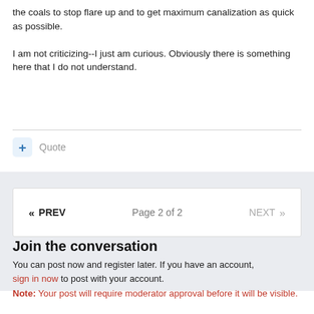the coals to stop flare up and to get maximum canalization as quick as possible.
I am not criticizing--I just am curious. Obviously there is something here that I do not understand.
Quote
« PREV   Page 2 of 2   NEXT »
Join the conversation
You can post now and register later. If you have an account, sign in now to post with your account.
Note: Your post will require moderator approval before it will be visible.